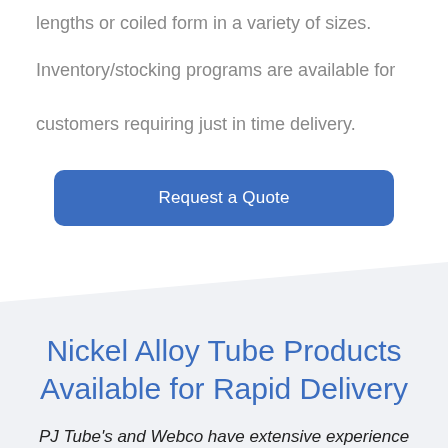lengths or coiled form in a variety of sizes.
Inventory/stocking programs are available for customers requiring just in time delivery.
[Figure (other): Blue rounded rectangle button labeled 'Request a Quote']
Nickel Alloy Tube Products Available for Rapid Delivery
PJ Tube's and Webco have extensive experience